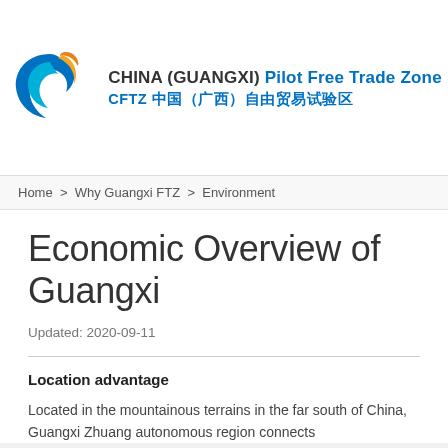[Figure (logo): China (Guangxi) Pilot Free Trade Zone logo with blue and orange swirl emblem and bilingual text]
Home > Why Guangxi FTZ > Environment
Economic Overview of Guangxi
Updated: 2020-09-11
Location advantage
Located in the mountainous terrains in the far south of China, Guangxi Zhuang autonomous region connects